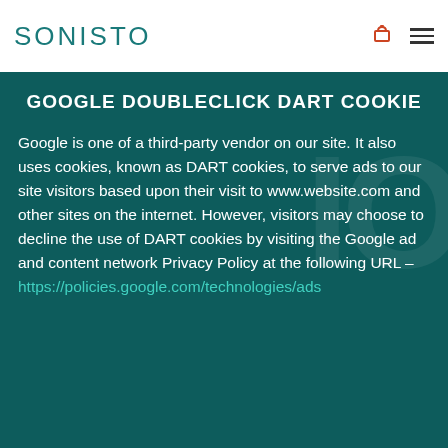SONISTO
GOOGLE DOUBLECLICK DART COOKIE
Google is one of a third-party vendor on our site. It also uses cookies, known as DART cookies, to serve ads to our site visitors based upon their visit to www.website.com and other sites on the internet. However, visitors may choose to decline the use of DART cookies by visiting the Google ad and content network Privacy Policy at the following URL – https://policies.google.com/technologies/ads